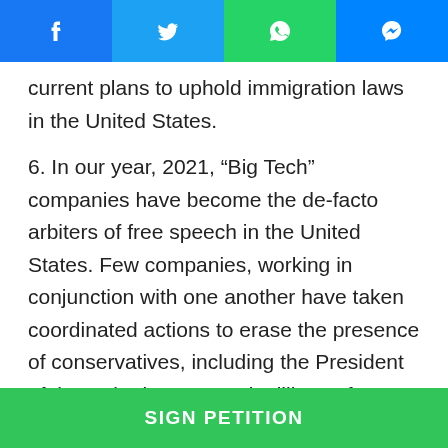Social sharing bar with Facebook, Twitter, WhatsApp, Messenger icons
current plans to uphold immigration laws in the United States.
6. In our year, 2021, “Big Tech” companies have become the de-facto arbiters of free speech in the United States. Few companies, working in conjunction with one another have taken coordinated actions to erase the presence of conservatives, including the President of the United States and millions of Americans from the internet. These
SIGN PETITION